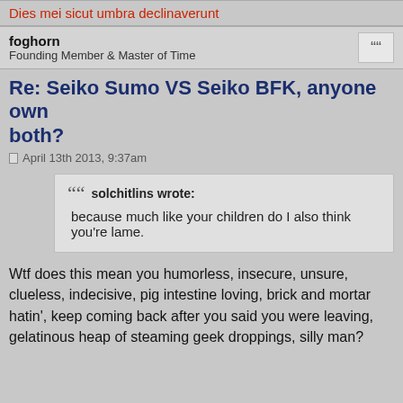Dies mei sicut umbra declinaverunt
foghorn
Founding Member & Master of Time
Re: Seiko Sumo VS Seiko BFK, anyone own both?
April 13th 2013, 9:37am
solchitlins wrote:
because much like your children do I also think you're lame.
Wtf does this mean you humorless, insecure, unsure, clueless, indecisive, pig intestine loving, brick and mortar hatin', keep coming back after you said you were leaving, gelatinous heap of steaming geek droppings, silly man?